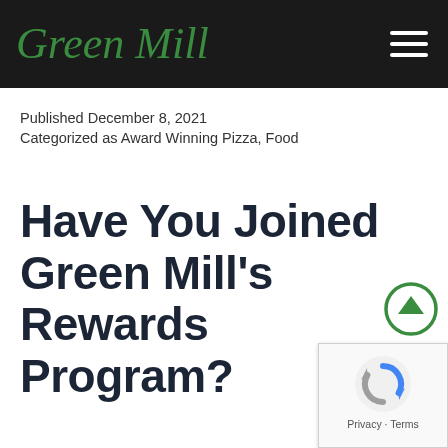Green Mill
Published December 8, 2021
Categorized as Award Winning Pizza, Food
Have You Joined Green Mill's Rewards Program?
[Figure (other): Green scroll-to-top arrow button circle]
[Figure (other): Google reCAPTCHA badge with Privacy and Terms links]